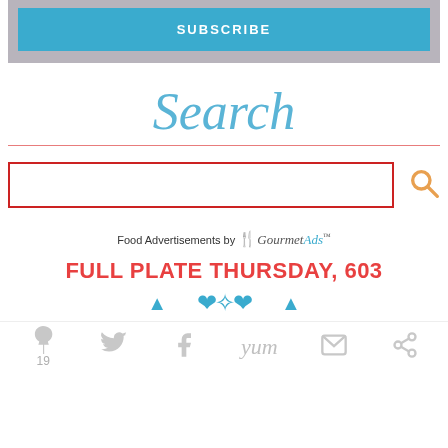[Figure (screenshot): Subscribe button in blue on grey background]
Search
[Figure (screenshot): Search input box with red border and orange magnifying glass icon]
Food Advertisements by GourmetAds
FULL PLATE THURSDAY, 603
[Figure (screenshot): Social sharing bar with Pinterest (19), Twitter, Facebook, Yum, Email, and another icon]